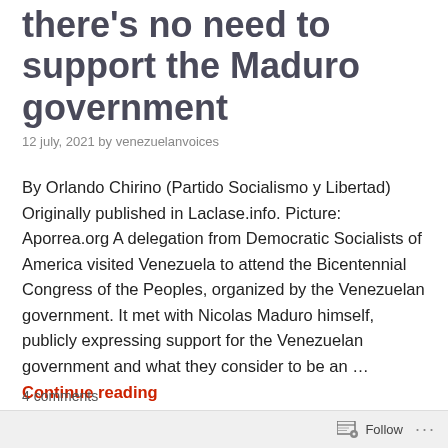there's no need to support the Maduro government
12 july, 2021 by venezuelanvoices
By Orlando Chirino (Partido Socialismo y Libertad) Originally published in Laclase.info. Picture: Aporrea.org A delegation from Democratic Socialists of America visited Venezuela to attend the Bicentennial Congress of the Peoples, organized by the Venezuelan government. It met with Nicolas Maduro himself, publicly expressing support for the Venezuelan government and what they consider to be an … Continue reading
4 comments
Follow